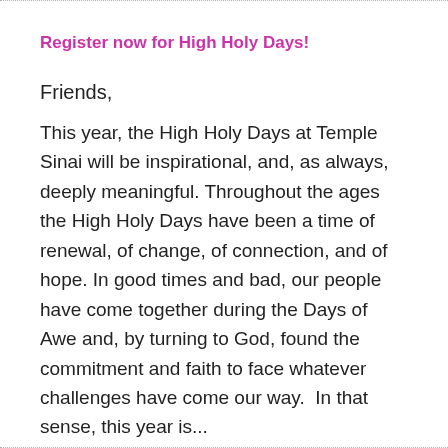Register now for High Holy Days!
Friends,
This year, the High Holy Days at Temple Sinai will be inspirational, and, as always, deeply meaningful. Throughout the ages the High Holy Days have been a time of renewal, of change, of connection, and of hope. In good times and bad, our people have come together during the Days of Awe and, by turning to God, found the commitment and faith to face whatever challenges have come our way.  In that sense, this year is...
Read more...